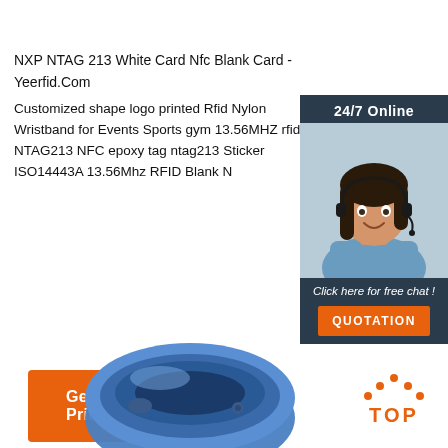NXP NTAG 213 White Card Nfc Blank Card - Yeerfid.Com
Customized shape logo printed Rfid Nylon Wristband for Events Sports gym 13.56MHZ rfid NTAG213 NFC epoxy tag ntag213 Sticker ISO14443A 13.56Mhz RFID Blank N...
[Figure (other): Get Price orange button]
[Figure (other): 24/7 Online chat widget with woman wearing headset, 'Click here for free chat!' text and QUOTATION button]
[Figure (photo): Blue RFID silicone wristband/bracelet product photo]
[Figure (logo): TOP logo with orange dots above text]